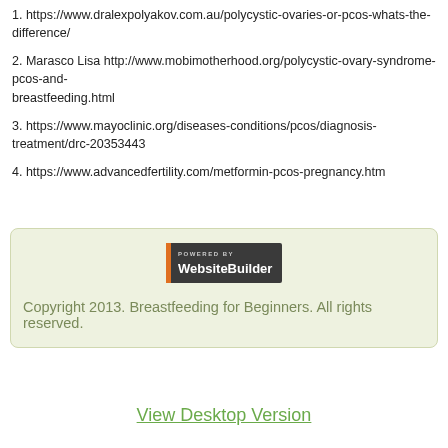1. https://www.dralexpolyakov.com.au/polycystic-ovaries-or-pcos-whats-the-difference/
2. Marasco Lisa http://www.mobimotherhood.org/polycystic-ovary-syndrome-pcos-and-breastfeeding.html
3. https://www.mayoclinic.org/diseases-conditions/pcos/diagnosis-treatment/drc-20353443
4. https://www.advancedfertility.com/metformin-pcos-pregnancy.htm
[Figure (logo): Powered by WebsiteBuilder badge — dark grey rectangle with orange accent and white text reading POWERED BY WebsiteBuilder]
Copyright 2013. Breastfeeding for Beginners. All rights reserved.
View Desktop Version